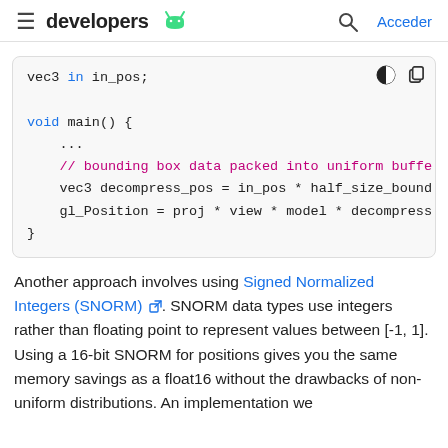≡ developers 🤖  🔍 Acceder
[Figure (screenshot): Code block showing GLSL shader code with syntax highlighting. Contains: 'vec3 in in_pos;', 'void main() {', '...', '// bounding box data packed into uniform buffe', 'vec3 decompress_pos = in_pos * half_size_bound', 'gl_Position = proj * view * model * decompress', '}']
Another approach involves using Signed Normalized Integers (SNORM) ↗. SNORM data types use integers rather than floating point to represent values between [-1, 1]. Using a 16-bit SNORM for positions gives you the same memory savings as a float16 without the drawbacks of non-uniform distributions. An implementation we